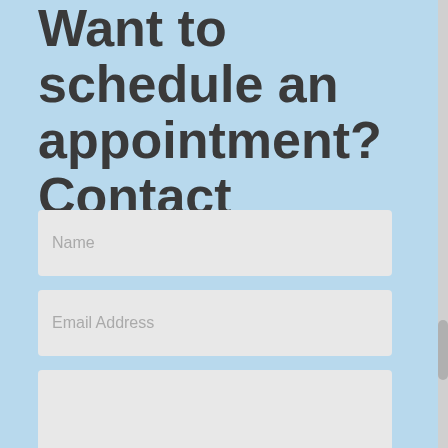Want to schedule an appointment? Contact JoAnna.
Name
Email Address
Message